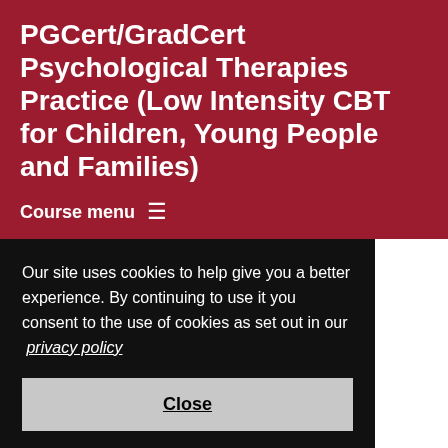PGCert/GradCert Psychological Therapies Practice (Low Intensity CBT for Children, Young People and Families)
Course menu ≡
[Figure (photo): A group of people standing outdoors, partially visible from behind, in a grassy/nature setting.]
Our site uses cookies to help give you a better experience. By continuing to use it you consent to the use of cookies as set out in our privacy policy
Close
[Figure (photo): A landscape or campus photo visible at the bottom of the page.]